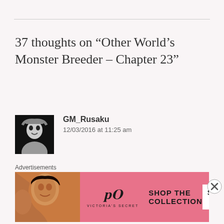37 thoughts on “Other World’s Monster Breeder – Chapter 23”
GM_Rusaku
12/03/2016 at 11:25 am
Thanks
[Figure (screenshot): Victoria's Secret advertisement banner with model photo, VS logo, 'SHOP THE COLLECTION' text, and 'SHOP NOW' button]